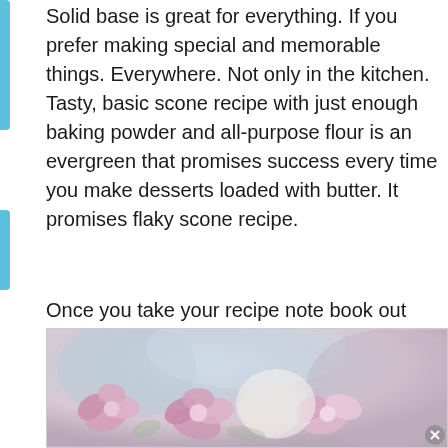Solid base is great for everything. If you prefer making special and memorable things. Everywhere. Not only in the kitchen. Tasty, basic scone recipe with just enough baking powder and all-purpose flour is an evergreen that promises success every time you make desserts loaded with butter. It promises flaky scone recipe.
Once you take your recipe note book out and start preparing this easy scone recipe, you may create earl grey scones or add strawberries, edible flowers or just brush them with honey. Even single, plain scones with buttermilk make an excellent afternoon dessert.
[Figure (photo): Close-up photograph of pink and white flowers, likely orchids or similar blooms, with soft focus background. The image is partially visible, cropped at the bottom of the page.]